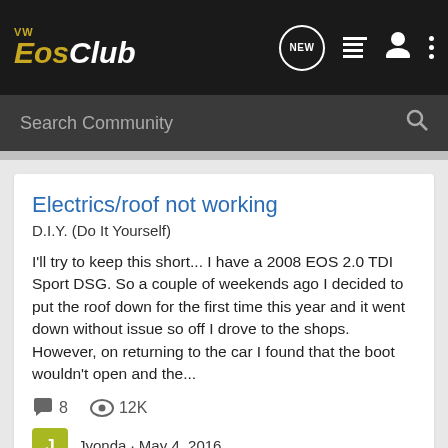VW EOS CLUB
Search Community
Electrics/roof not working
D.I.Y. (Do It Yourself)
I'll try to keep this short... I have a 2008 EOS 2.0 TDI Sport DSG. So a couple of weekends ago I decided to put the roof down for the first time this year and it went down without issue so off I drove to the shops. However, on returning to the car I found that the boot wouldn't open and the...
8  12K
Jyonda · May 4, 2016
electrics  ignition  motor  pump  roof